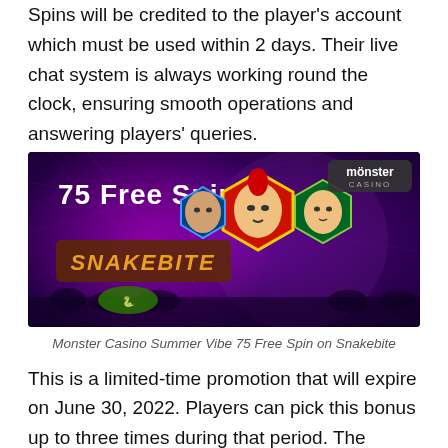Spins will be credited to the player's account which must be used within 2 days. Their live chat system is always working round the clock, ensuring smooth operations and answering players' queries.
[Figure (photo): Monster Casino Summer Vibe promotional banner showing '75 Free Spins' on Snakebite slot game with darts player character icons on a purple background.]
Monster Casino Summer Vibe 75 Free Spin on Snakebite
This is a limited-time promotion that will expire on June 30, 2022. Players can pick this bonus up to three times during that period. The promotion will stop after a participant has met or exceeded the wagering criteria, and earnings will be transferred to a real cash balance. Skrill is not recommended as a payment option for cl...